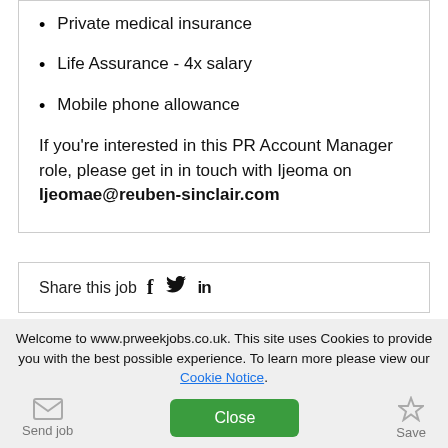Private medical insurance
Life Assurance - 4x salary
Mobile phone allowance
If you're interested in this PR Account Manager role, please get in in touch with Ijeoma on Ijeomae@reuben-sinclair.com
Share this job
Welcome to www.prweekjobs.co.uk. This site uses Cookies to provide you with the best possible experience. To learn more please view our Cookie Notice.